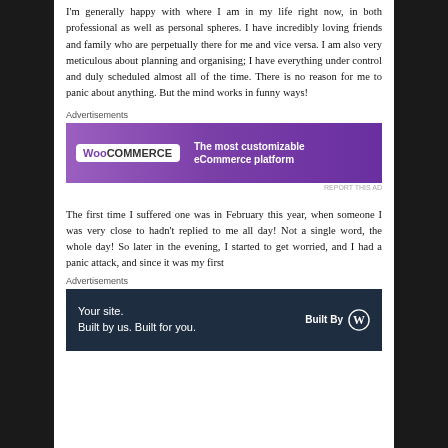I'm generally happy with where I am in my life right now, in both professional as well as personal spheres. I have incredibly loving friends and family who are perpetually there for me and vice versa. I am also very meticulous about planning and organising; I have everything under control and duly scheduled almost all of the time. There is no reason for me to panic about anything. But the mind works in funny ways!
Advertisements
[Figure (screenshot): WooCommerce advertisement banner: purple background, WooCommerce logo on left, text 'The most customizable eCommerce platform' on right]
REPORT THIS AD
The first time I suffered one was in February this year, when someone I was very close to hadn't replied to me all day! Not a single word, the whole day! So later in the evening, I started to get worried, and I had a panic attack, and since it was my first
Advertisements
[Figure (screenshot): WordPress advertisement banner: dark navy background, text 'Your site. Built by us. Built for you.' on left, 'Built By' with WordPress logo on right]